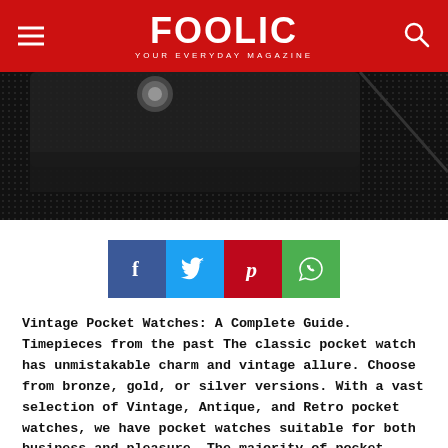FOOLIC — YOUR EVERYDAY MAGAZINE
[Figure (photo): Close-up dark textured surface with a metallic circular element, black case on dark fabric background.]
[Figure (infographic): Social share buttons: Facebook (blue), Twitter (cyan), Pinterest (red), WhatsApp (green)]
Vintage Pocket Watches: A Complete Guide. Timepieces from the past The classic pocket watch has unmistakable charm and vintage allure. Choose from bronze, gold, or silver versions. With a vast selection of Vintage, Antique, and Retro pocket watches, we have pocket watches suitable for both business and pleasure. The majority of pocket